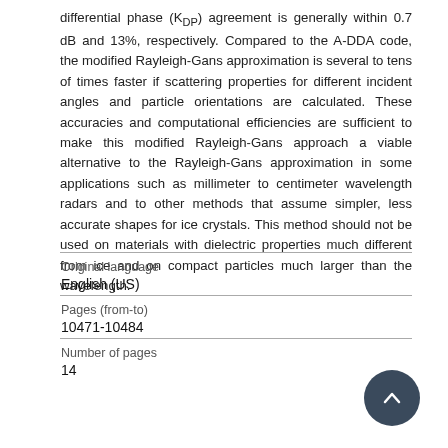differential phase (KDP) agreement is generally within 0.7 dB and 13%, respectively. Compared to the A-DDA code, the modified Rayleigh-Gans approximation is several to tens of times faster if scattering properties for different incident angles and particle orientations are calculated. These accuracies and computational efficiencies are sufficient to make this modified Rayleigh-Gans approach a viable alternative to the Rayleigh-Gans approximation in some applications such as millimeter to centimeter wavelength radars and to other methods that assume simpler, less accurate shapes for ice crystals. This method should not be used on materials with dielectric properties much different from ice and on compact particles much larger than the wavelength.
| Field | Value |
| --- | --- |
| Original language | English (US) |
| Pages (from-to) | 10471-10484 |
| Number of pages | 14 |